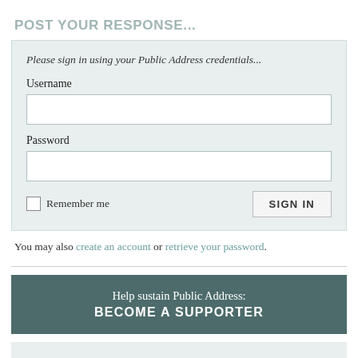POST YOUR RESPONSE...
Please sign in using your Public Address credentials...
Username
Password
Remember me
SIGN IN
You may also create an account or retrieve your password.
Help sustain Public Address: BECOME A SUPPORTER